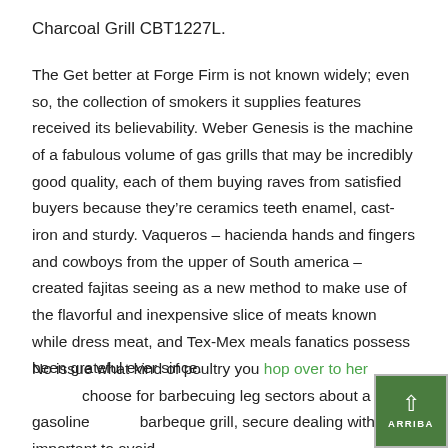Charcoal Grill CBT1227L.
The Get better at Forge Firm is not known widely; even so, the collection of smokers it supplies features received its believability. Weber Genesis is the machine of a fabulous volume of gas grills that may be incredibly good quality, each of them buying raves from satisfied buyers because they’re ceramics teeth enamel, cast-iron and sturdy. Vaqueros – hacienda hands and fingers and cowboys from the upper of South america – created fajitas seeing as a new method to make use of the flavorful and inexpensive slice of meats known while dress meat, and Tex-Mex meals fanatics possess been grateful ever since.
No issue what kind of poultry you hop over to here choose for barbecuing leg sectors about a gasoline barbeque grill, secure dealing with is important to avoid